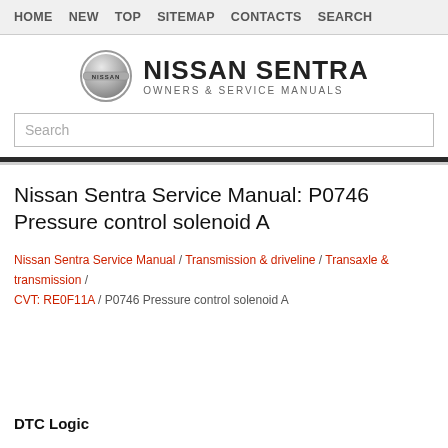HOME  NEW  TOP  SITEMAP  CONTACTS  SEARCH
[Figure (logo): Nissan Sentra Owners & Service Manuals logo with Nissan circular emblem]
Search
Nissan Sentra Service Manual: P0746 Pressure control solenoid A
Nissan Sentra Service Manual / Transmission & driveline / Transaxle & transmission / CVT: RE0F11A / P0746 Pressure control solenoid A
DTC Logic